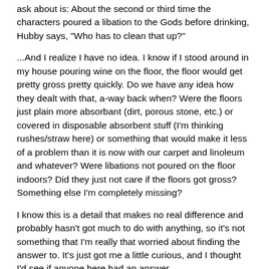ask about is: About the second or third time the characters poured a libation to the Gods before drinking, Hubby says, "Who has to clean that up?"
...And I realize I have no idea. I know if I stood around in my house pouring wine on the floor, the floor would get pretty gross pretty quickly. Do we have any idea how they dealt with that, a-way back when? Were the floors just plain more absorbant (dirt, porous stone, etc.) or covered in disposable absorbent stuff (I'm thinking rushes/straw here) or something that would make it less of a problem than it is now with our carpet and linoleum and whatever? Were libations not poured on the floor indoors? Did they just not care if the floors got gross? Something else I'm completely missing?
I know this is a detail that makes no real difference and probably hasn't got much to do with anything, so it's not something that I'm really that worried about finding the answer to. It's just got me a little curious, and I thought I'd see if anyone here had an answer.
Message Board: Join in our discussion